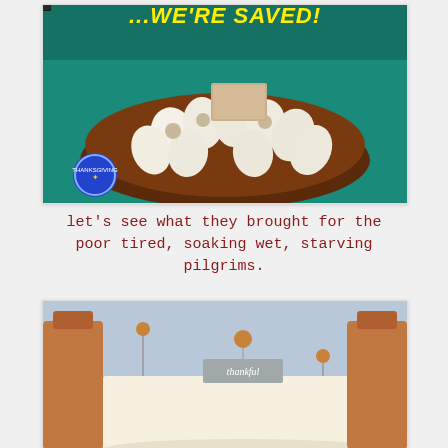[Figure (photo): A bowl filled with decorative eggs painted with Pilgrim faces, with text overlay reading '...WE'RE SAVED!' in yellow letters on a colorful background. A blue circular emblem/sticker is visible in the lower left.]
let's see what they brought for the poor tired, soaking wet, starving pilgrims.
[Figure (photo): A close-up photo of a decorative Thanksgiving table setting featuring wooden toy-like figurines seated at a table, with a small sign reading 'thankful' on a metal stand, and a rolled paper or scroll in the foreground.]